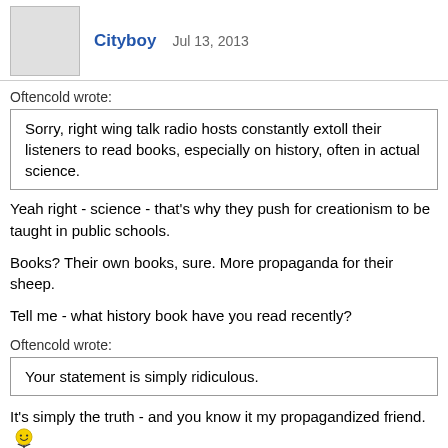Cityboy  Jul 13, 2013
Oftencold wrote:
Sorry, right wing talk radio hosts constantly extoll their listeners to read books, especially on history, often in actual science.
Yeah right - science - that's why they push for creationism to be taught in public schools.

Books? Their own books, sure. More propaganda for their sheep.

Tell me - what history book have you read recently?
Oftencold wrote:
Your statement is simply ridiculous.
It's simply the truth - and you know it my propagandized friend. 🙂
Oftencold  Jul 13, 2013
Mikeyy wrote: